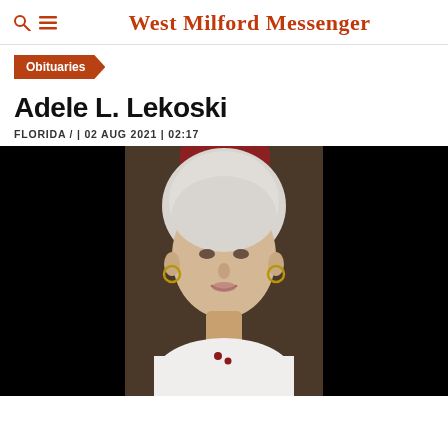West Milford Messenger
Obituaries
Adele L. Lekoski
FLORIDA / | 02 AUG 2021 | 02:17
[Figure (photo): Portrait photo of Adele L. Lekoski, an elderly woman with short curly white hair, wearing hoop earrings and a white top, photographed against a dark background with a person in red visible behind her.]